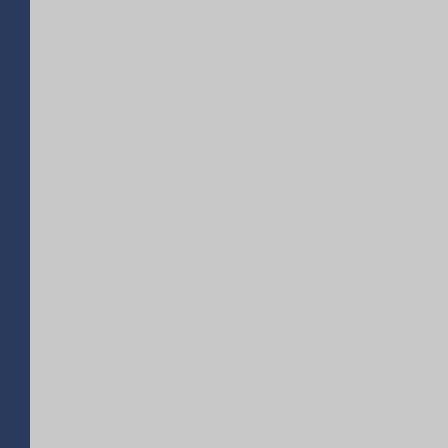Reply
Nick Wright
June 22, 20...

When you g... your mom a... voluntarily refrain from say... set her off.
Reply
Ghost
June 23, ...

I'm 19 an... college. T... "no paying rent" agreem... not swear.
Reply